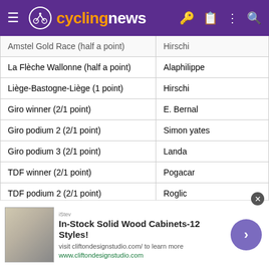cyclingnews
| Race / Category | Winner |
| --- | --- |
| Amstel Gold Race (half a point) | Hirschi |
| La Flèche Wallonne (half a point) | Alaphilippe |
| Liège-Bastogne-Liège (1 point) | Hirschi |
| Giro winner (2/1 point) | E. Bernal |
| Giro podium 2 (2/1 point) | Simon yates |
| Giro podium 3 (2/1 point) | Landa |
| TDF winner (2/1 point) | Pogacar |
| TDF podium 2 (2/1 point) | Roglic |
| TDF podium 3 (2/1 point) | R Carapaz |
| TDF - Green jersey (1 point) | Sam bennett |
| TDF - White jersey (half a point) | pogacar |
[Figure (other): Advertisement banner: In-Stock Solid Wood Cabinets-12 Styles! visit cliftondesignstudio.com/ to learn more. www.cliftondesignstudio.com]